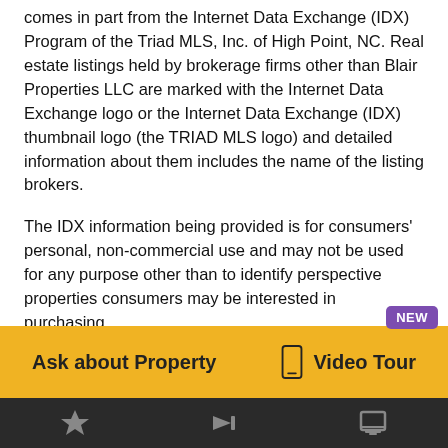The data relating to real estate for sale on this web site comes in part from the Internet Data Exchange (IDX) Program of the Triad MLS, Inc. of High Point, NC. Real estate listings held by brokerage firms other than Blair Properties LLC are marked with the Internet Data Exchange logo or the Internet Data Exchange (IDX) thumbnail logo (the TRIAD MLS logo) and detailed information about them includes the name of the listing brokers.
The IDX information being provided is for consumers' personal, non-commercial use and may not be used for any purpose other than to identify perspective properties consumers may be interested in purchasing.
NEW
Ask about Property
Video Tour